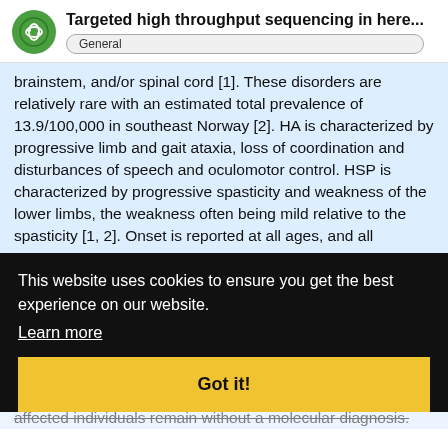Targeted high throughput sequencing in here... General
brainstem, and/or spinal cord [1]. These disorders are relatively rare with an estimated total prevalence of 13.9/100,000 in southeast Norway [2]. HA is characterized by progressive limb and gait ataxia, loss of coordination and disturbances of speech and oculomotor control. HSP is characterized by progressive spasticity and weakness of the lower limbs, the weakness often being mild relative to the spasticity [1, 2]. Onset is reported at all ages, and all monogenic modes of inheritances—autosomal dominant, autosomal recessive, and X-linked—have been identified [3]. These heterogeneous disorders have been classified as neurodegenerative disorders [4–7]. Identifying molecular diagnoses in such genetically heterogeneous disorders is challenging. Usually multiple, expensive and time-consuming investigations are performed. Nevertheless, a large part of affected individuals remain without a molecular diagnosis.
This website uses cookies to ensure you get the best experience on our website. Learn more Got it!
With the progress in sequencing technolo